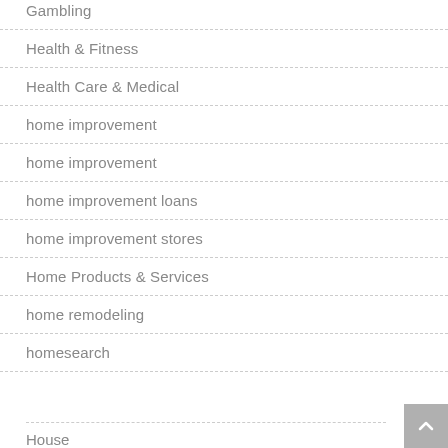Gambling
Health & Fitness
Health Care & Medical
home improvement
home improvement
home improvement loans
home improvement stores
Home Products & Services
home remodeling
homesearch
House